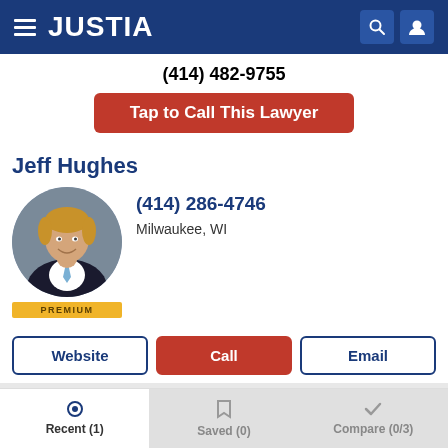[Figure (screenshot): Justia website header with hamburger menu, JUSTIA logo, search icon, and user icon on dark blue background]
(414) 482-9755
Tap to Call This Lawyer
Jeff Hughes
[Figure (photo): Circular profile photo of Jeff Hughes, a man in a suit with short light hair, smiling]
PREMIUM
(414) 286-4746
Milwaukee, WI
Website
Call
Email
Jeffrey Lee Murrell
(414) 372-6598
Recent (1)
Saved (0)
Compare (0/3)